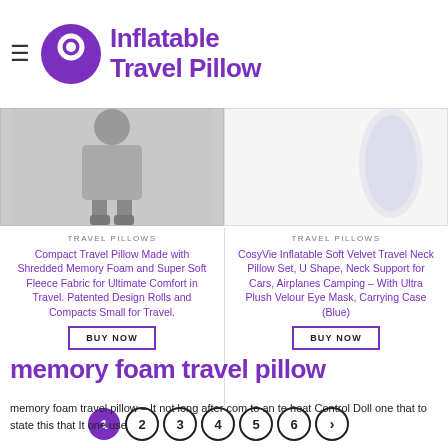Inflatable Travel Pillow
[Figure (photo): Two product images: left shows a grayscale photo with a figure wearing a travel pillow; right shows a white inflatable travel pillow on white background]
TRAVEL PILLOWS
Compact Travel Pillow Made with Shredded Memory Foam and Super Soft Fleece Fabric for Ultimate Comfort in Travel. Patented Design Rolls and Compacts Small for Travel.
BUY NOW
TRAVEL PILLOWS
CosyVie Inflatable Soft Velvet Travel Neck Pillow Set, U Shape, Neck Support for Cars, Airplanes Camping – With Ultra Plush Velour Eye Mask, Carrying Case (Blue)
BUY NOW
[Figure (infographic): Pagination: circles numbered 1 (filled purple/active), 2, 3, 4, 5, 6, and a right-arrow circle]
memory foam travel pillow
memory foam travel pillow – It not long after com to an te heat Control Doll one that to state this that It one use